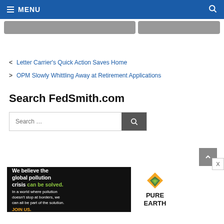MENU
Letter Carrier's Quick Action Saves Home
OPM Slowly Whittling Away at Retirement Applications
Search FedSmith.com
[Figure (screenshot): Search input box with search button]
[Figure (screenshot): Back to top button (upward chevron)]
[Figure (infographic): Pure Earth advertisement banner: 'We believe the global pollution crisis can be solved. In a world where pollution doesn't stop at borders, we can all be part of the solution. JOIN US.' with Pure Earth logo]